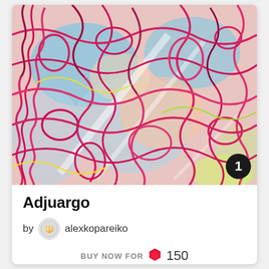[Figure (illustration): Abstract colorful maze-like digital artwork with swirling pink, blue, yellow and white lines on a light background. A black circular badge with white number '1' appears in the bottom-right corner of the image.]
Adjuargo
by alexkopareiko
BUY NOW FOR ◆ 150